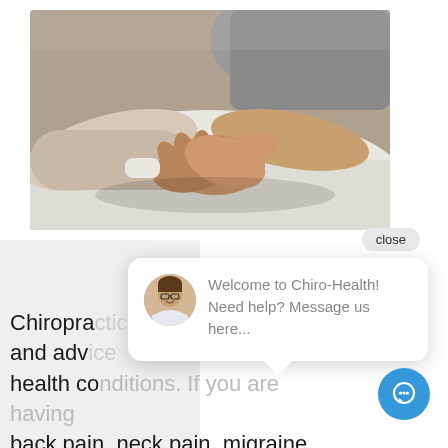[Figure (photo): Close-up of a chiropractor's hands manipulating a patient's hand/finger joints, with white draping visible in background]
close
[Figure (screenshot): Chat widget popup with avatar photo of a man with glasses and text: Welcome to Chiro-Health! Need help? Message us here...]
Chiropractic and advice health conditions. If you are having back pain, neck pain, migraine headache and neck tension or other muscle and joint tension, you will benefit from chiropractic treatment